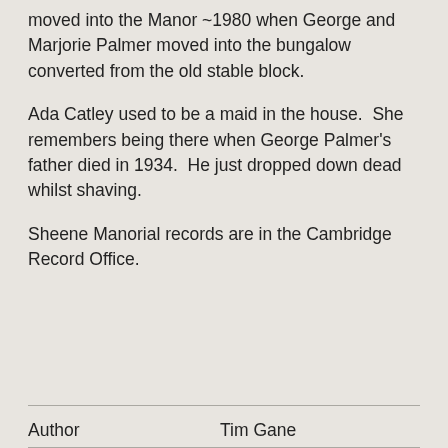moved into the Manor ~1980 when George and Marjorie Palmer moved into the bungalow converted from the old stable block.
Ada Catley used to be a maid in the house.  She remembers being there when George Palmer's father died in 1934.  He just dropped down dead whilst shaving.
Sheene Manorial records are in the Cambridge Record Office.
| Author | Tim Gane |
| --- | --- |